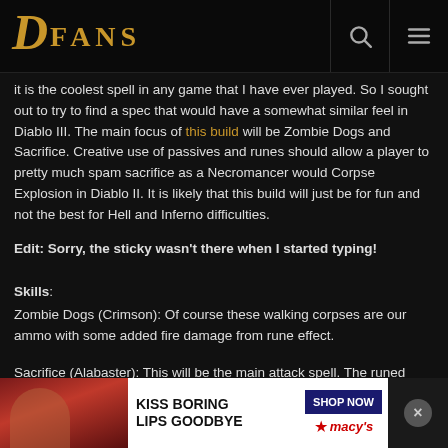DFANS
It is the coolest spell in any game that I have ever played. So I sought out to try to find a spec that would have a somewhat similar feel in Diablo III. The main focus of this build will be Zombie Dogs and Sacrifice. Creative use of passives and runes should allow a player to pretty much spam sacrifice as a Necromancer would Corpse Explosion in Diablo II. It is likely that this build will just be for fun and not the best for Hell and Inferno difficulties.
Edit: Sorry, the sticky wasn't there when I started typing!
Skills:
Zombie Dogs (Crimson): Of course these walking corpses are our ammo with some added fire damage from rune effect.
Sacrifice (Alabaster): This will be the main attack spell. The runed effect w... for further
[Figure (photo): Advertisement banner: Kiss Boring Lips Goodbye - Shop Now at Macy's, showing woman with red lipstick]